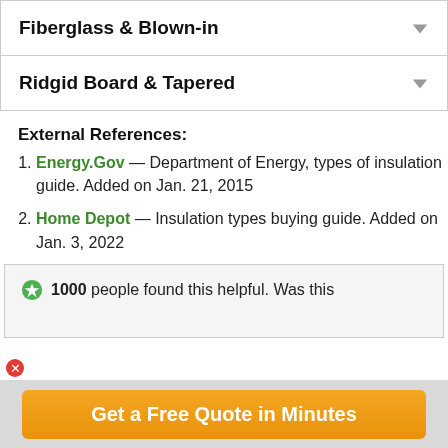Fiberglass & Blown-in
Ridgid Board & Tapered
External References:
Energy.Gov — Department of Energy, types of insulation guide. Added on Jan. 21, 2015
Home Depot — Insulation types buying guide. Added on Jan. 3, 2022
1000 people found this helpful. Was this
Get a Free Quote in Minutes